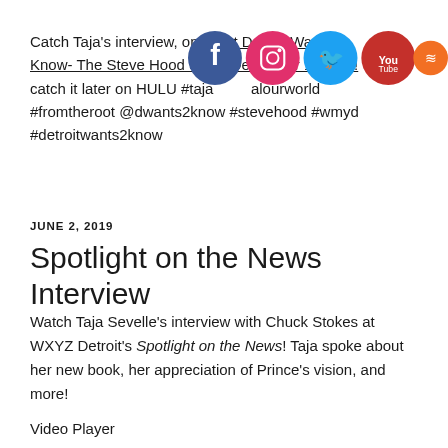Catch Taja's interview, on What Detroit Wants 2 Know- The Steve Hood Show December 1, 2019! Or- catch it later on HULU #tajasinewbook #itsalourworld #fromtheroot @dwants2know #stevehood #wmyd #detroitwants2know
[Figure (illustration): Social media icons row: Facebook (blue), Instagram (red/gradient), Twitter (light blue), YouTube (red with white play), SoundCloud (orange)]
JUNE 2, 2019
Spotlight on the News Interview
Watch Taja Sevelle's interview with Chuck Stokes at WXYZ Detroit's Spotlight on the News! Taja spoke about her new book, her appreciation of Prince's vision, and more!
Video Player